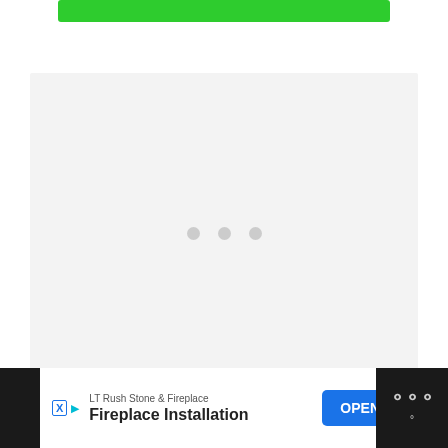[Figure (other): Green button/bar at top of page]
[Figure (other): Light gray loading placeholder box with three gray dots in the center indicating content loading]
[Figure (other): Advertisement banner at bottom: LT Rush Stone & Fireplace - Fireplace Installation with blue OPEN button, on dark background with ad disclosure icons]